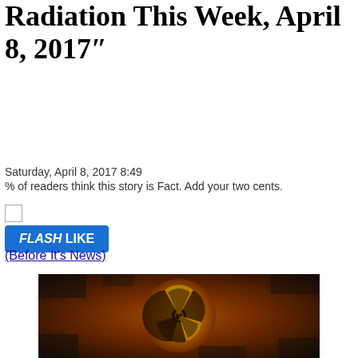Radiation This Week, April 8, 2017"
Saturday, April 8, 2017 8:49
% of readers think this story is Fact. Add your two cents.
[Figure (other): Flash Like button with small image placeholder and blue button labeled FLASH LIKE]
(Before It's News)
[Figure (photo): Dark image with a yellow/orange radioactive hazard symbol on a textured, deteriorated surface]